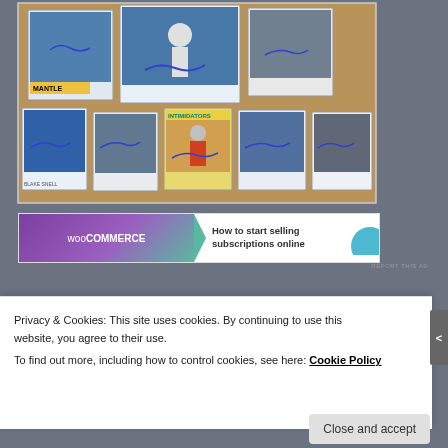[Figure (photo): A collection of autographed baseball cards displayed on a wooden surface. Top row has 3 larger cards including one with 'MANTLE' label, middle/bottom row has 5 cards including one labeled 'INTIMIDATORS'. All cards have blue ink signatures.]
[Figure (screenshot): WooCommerce advertisement banner: 'How to start selling subscriptions online']
REPORT THIS AD
Privacy & Cookies: This site uses cookies. By continuing to use this website, you agree to their use.
To find out more, including how to control cookies, see here: Cookie Policy
Close and accept